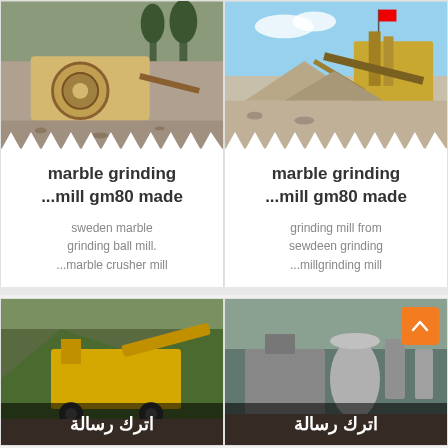[Figure (photo): Industrial marble grinding mill machine on a gravel site with trees in background]
marble grinding ...mill gm80 made
sweden marble grinding ball mill. ...marble crusher mill
[Figure (photo): Industrial marble grinding mill machine on open quarry site with blue sky and flag]
marble grinding ...mill gm80 made
grinding mill from sewdeen grinding ...millgrinding mill
[Figure (photo): Yellow industrial mining/crushing machine at a quarry site]
اترك رسالة
[Figure (photo): Industrial facility building at a quarry or mining site]
اترك رسالة